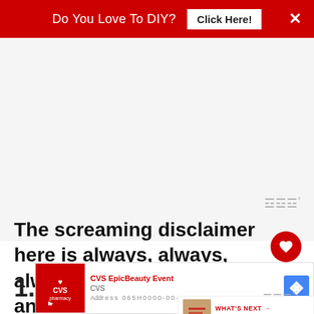Do You Love To DIY? Click Here!
[Figure (other): Advertisement placeholder area (gray background)]
The screaming disclaimer here is always, always, always test your color in an inconspicuous spot.
[Figure (other): WHAT'S NEXT arrow label with thumbnail: The Easiest Way To Rep...]
[Figure (other): CVS EpicBeauty Event advertisement banner at bottom]